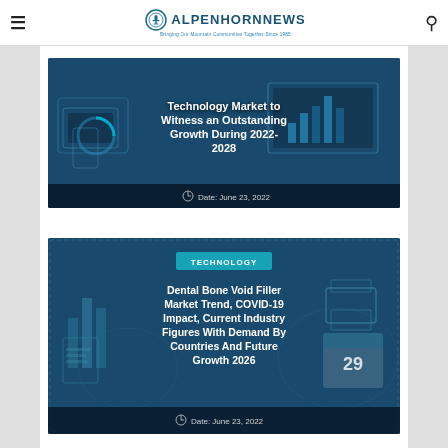ALPENHORNNEWS — Bringing Our Mountain Communities Together Since 1985
[Figure (screenshot): Article card with technology market image: 'Technology Market to Witness an Outstanding Growth During 2022-2028', Date: June 23, 2022]
[Figure (screenshot): Article card with TECHNOLOGY tag and dental market image: 'Dental Bone Void Filler Market Trend, COVID-19 Impact, Current Industry Figures With Demand By Countries And Future Growth 2026', Date: June 23, 2022]